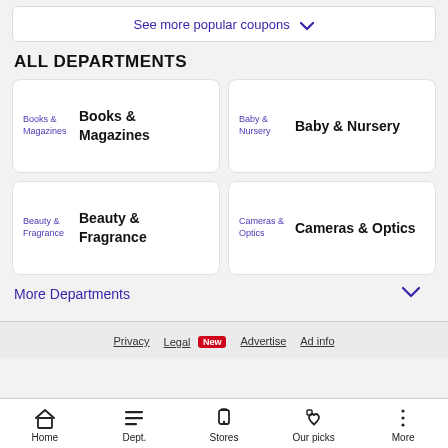See more popular coupons ∨
ALL DEPARTMENTS
Books & Magazines
Baby & Nursery
Beauty & Fragrance
Cameras & Optics
More Departments ∨
Privacy  Legal New  Advertise  Ad info
Home  Dept.  Stores  Our picks  More